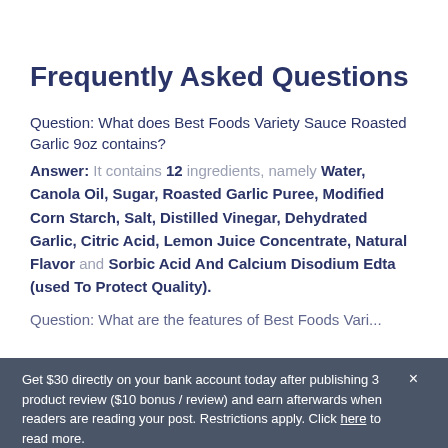Frequently Asked Questions
Question: What does Best Foods Variety Sauce Roasted Garlic 9oz contains?
Answer: It contains 12 ingredients, namely Water, Canola Oil, Sugar, Roasted Garlic Puree, Modified Corn Starch, Salt, Distilled Vinegar, Dehydrated Garlic, Citric Acid, Lemon Juice Concentrate, Natural Flavor and Sorbic Acid And Calcium Disodium Edta (used To Protect Quality).
Question: What are the features of Best Foods Vari...
Get $30 directly on your bank account today after publishing 3 product review ($10 bonus / review) and earn afterwards when readers are reading your post. Restrictions apply. Click here to read more.